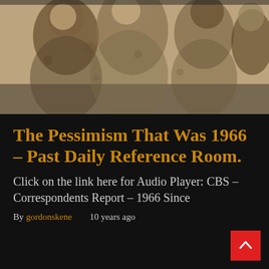[Figure (photo): Vintage sepia-toned photograph of a group of people, appearing to be from mid-20th century, smiling and gathered together.]
The Pessimism That Was 1966 – Past Daily Reference Room.
Click on the link here for Audio Player: CBS – Correspondents Report – 1966 Since
By gordonskene    10 years ago